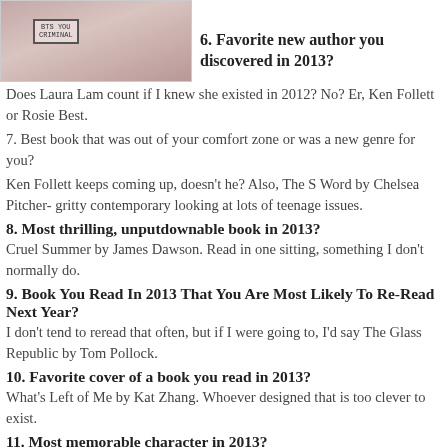[Figure (photo): Book cover thumbnail showing hands and text label 'BTS YOU CRIMINAL']
6. Favorite new author you discovered in 2013?
Does Laura Lam count if I knew she existed in 2012? No? Er, Ken Follett or Rosie Best.
7. Best book that was out of your comfort zone or was a new genre for you?
Ken Follett keeps coming up, doesn't he? Also, The S Word by Chelsea Pitcher- gritty contemporary looking at lots of teenage issues.
8. Most thrilling, unputdownable book in 2013?
Cruel Summer by James Dawson. Read in one sitting, something I don't normally do.
9. Book You Read In 2013 That You Are Most Likely To Re-Read Next Year?
I don't tend to reread that often, but if I were going to, I'd say The Glass Republic by Tom Pollock.
10. Favorite cover of a book you read in 2013?
What's Left of Me by Kat Zhang. Whoever designed that is too clever to exist.
11. Most memorable character in 2013?
Argh! Er, I don't know. There's lot. Alan Strang (Equus), Micah